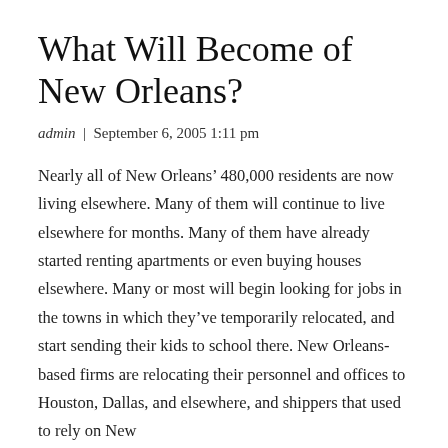What Will Become of New Orleans?
admin  |  September 6, 2005 1:11 pm
Nearly all of New Orleans’ 480,000 residents are now living elsewhere. Many of them will continue to live elsewhere for months. Many of them have already started renting apartments or even buying houses elsewhere. Many or most will begin looking for jobs in the towns in which they’ve temporarily relocated, and start sending their kids to school there. New Orleans-based firms are relocating their personnel and offices to Houston, Dallas, and elsewhere, and shippers that used to rely on New